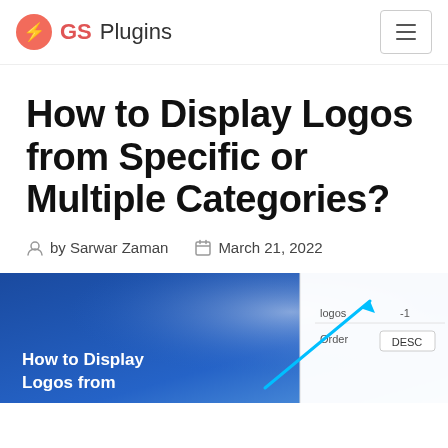GS Plugins
How to Display Logos from Specific or Multiple Categories?
by Sarwar Zaman   March 21, 2022
[Figure (screenshot): Screenshot showing a plugin settings interface with blue background and text 'How to Display Logos from' with UI elements including an arrow pointer and form fields showing 'Order' and 'DESC' labels, and a value of -1]